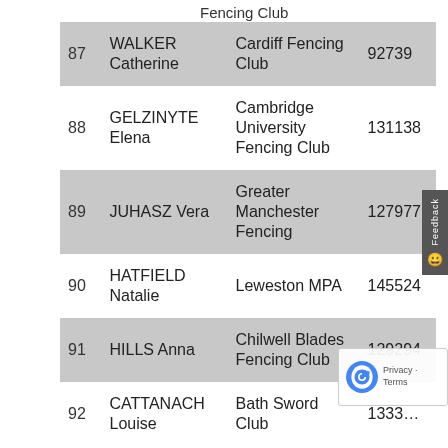Fencing Club
| # | Name | Club | ID |
| --- | --- | --- | --- |
| 87 | WALKER Catherine | Cardiff Fencing Club | 92739 |
| 88 | GELZINYTE Elena | Cambridge University Fencing Club | 131138 |
| 89 | JUHASZ Vera | Greater Manchester Fencing | 127977 |
| 90 | HATFIELD Natalie | Leweston MPA | 145524 |
| 91 | HILLS Anna | Chilwell Blades Fencing Club | 129294 |
| 92 | CATTANACH Louise | Bath Sword Club | 1333... |